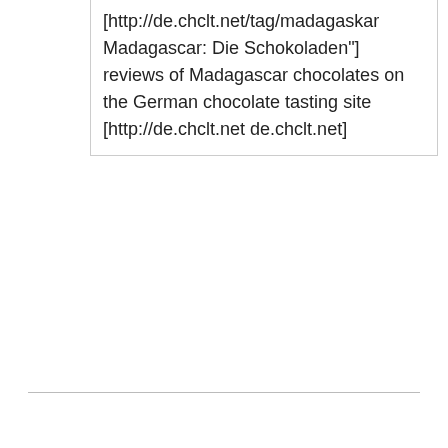[http://de.chclt.net/tag/madagaskar  Madagascar: Die Schokoladen"] reviews of Madagascar chocolates on the German chocolate tasting site [http://de.chclt.net de.chclt.net]